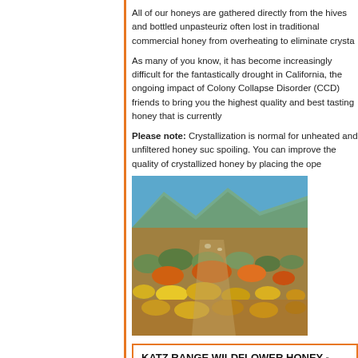All of our honeys are gathered directly from the hives and bottled unpasteuriz often lost in traditional commercial honey from overheating to eliminate crysta
As many of you know, it has become increasingly difficult for the fantastically drought in California, the ongoing impact of Colony Collapse Disorder (CCD) friends to bring you the highest quality and best tasting honey that is currently
Please note: Crystallization is normal for unheated and unfiltered honey suc spoiling. You can improve the quality of crystallized honey by placing the ope
[Figure (photo): Desert wildflower landscape with colorful flowers (orange, yellow, green shrubs) against mountain background and blue sky on the left; close-up of a bee on a blue surface on the right]
KATZ RANGE WILDFLOWER HONEY - Sold Out! [K2WF]
Copyr
Currently viewing:  KAT